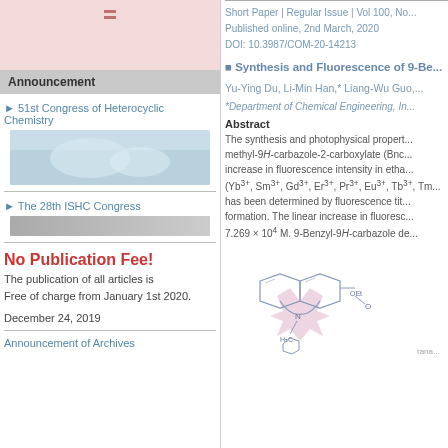[Figure (other): Pink header box with decorative lines]
Announcement
51st Congress of Heterocyclic Chemistry
[Figure (photo): Blue-toned congress image]
The 28th ISHC Congress
[Figure (other): Gray bar image]
No Publication Fee!
The publication of all articles is Free of charge from January 1st 2020.
December 24, 2019
Announcement of Archives
Short Paper | Regular Issue | Vol 100, No...
Published online, 2nd March, 2020
DOI: 10.3987/COM-20-14213
Synthesis and Fluorescence of 9-Be...
Yu-Ying Du, Li-Min Han,* Liang-Wu Guo,...
*Department of Chemical Engineering, In...
Abstract
The synthesis and photophysical properties of methyl-9H-carbazole-2-carboxylate (Bnc... increase in fluorescence intensity in etha... (Yb³⁺, Sm³⁺, Gd³⁺, Er³⁺, Pr³⁺, Eu³⁺, Tb³⁺, Tm... has been determined by fluorescence tit... formation. The linear increase in fluoresc... 7.269 × 10⁴ M. 9-Benzyl-9H-carbazole de...
[Figure (engineering-diagram): Chemical structure diagram of 9-benzyl-9H-carbazole-2-carboxylate showing the carbazole ring system with benzyl group at N and ethyl ester substituent, with pink starburst highlight]